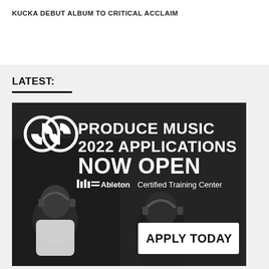KUCKA DEBUT ALBUM TO CRITICAL ACCLAIM
LATEST:
[Figure (illustration): Advertisement banner for Produce Music 2022 Applications Now Open, an Ableton Certified Training Center, with Apply Today button. Shows two people in a recording studio wearing headphones.]